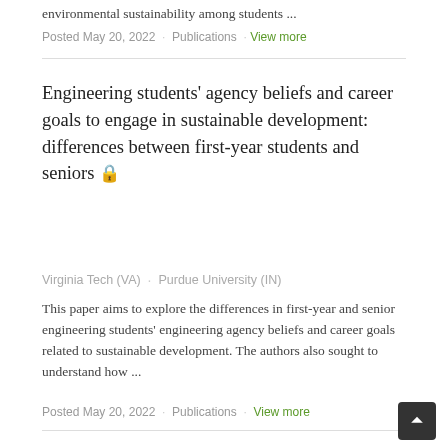environmental sustainability among students ...
Posted May 20, 2022  Publications  View more
Engineering students’ agency beliefs and career goals to engage in sustainable development: differences between first-year students and seniors 🔒
Virginia Tech (VA)    Purdue University (IN)
This paper aims to explore the differences in first-year and senior engineering students’ engineering agency beliefs and career goals related to sustainable development. The authors also sought to understand how ...
Posted May 20, 2022  Publications  View more
How university students are taught